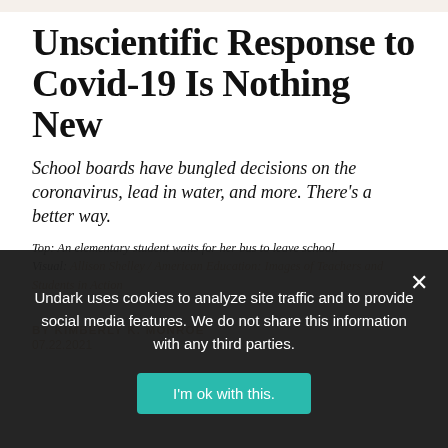Unscientific Response to Covid-19 Is Nothing New
School boards have bungled decisions on the coronavirus, lead in water, and more. There's a better way.
Top: An elementary student waits for her bus to leave school. Visual: Allison Shelley / American Education: Images of Teachers and Students in Action
BY KIMBERLY K. MONROE
Undark uses cookies to analyze site traffic and to provide social media features. We do not share this information with any third parties.